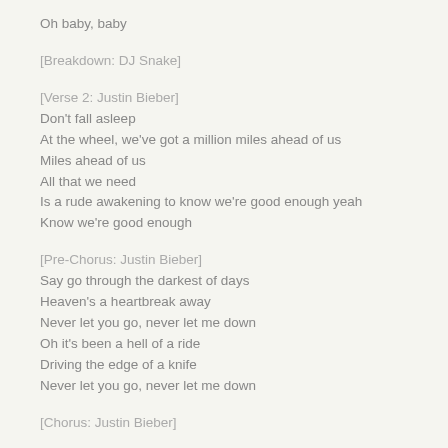Oh baby, baby
[Breakdown: DJ Snake]
[Verse 2: Justin Bieber]
Don't fall asleep
At the wheel, we've got a million miles ahead of us
Miles ahead of us
All that we need
Is a rude awakening to know we're good enough yeah
Know we're good enough
[Pre-Chorus: Justin Bieber]
Say go through the darkest of days
Heaven's a heartbreak away
Never let you go, never let me down
Oh it's been a hell of a ride
Driving the edge of a knife
Never let you go, never let me down
[Chorus: Justin Bieber]